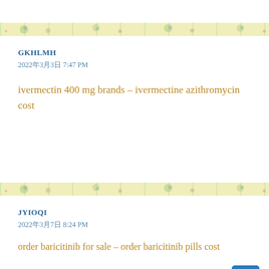[Figure (other): Top white area with decorative floral banner below]
GKHLMH
2022年3月3日 7:47 PM
ivermectin 400 mg brands – ivermectine azithromycin cost
[Figure (other): Decorative floral separator bar]
JYIOQI
2022年3月7日 8:24 PM
order baricitinib for sale – order baricitinib pills cost